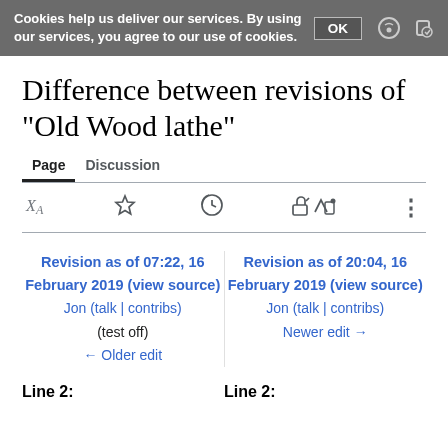Cookies help us deliver our services. By using our services, you agree to our use of cookies. OK
Difference between revisions of "Old Wood lathe"
Page  Discussion
Revision as of 07:22, 16 February 2019 (view source)
Jon (talk | contribs)
(test off)
← Older edit
Revision as of 20:04, 16 February 2019 (view source)
Jon (talk | contribs)
Newer edit →
Line 2:
Line 2: